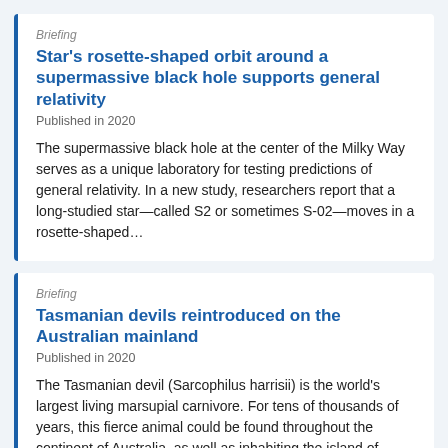Briefing
Star's rosette-shaped orbit around a supermassive black hole supports general relativity
Published in 2020
The supermassive black hole at the center of the Milky Way serves as a unique laboratory for testing predictions of general relativity. In a new study, researchers report that a long-studied star—called S2 or sometimes S-02—moves in a rosette-shaped…
Briefing
Tasmanian devils reintroduced on the Australian mainland
Published in 2020
The Tasmanian devil (Sarcophilus harrisii) is the world's largest living marsupial carnivore. For tens of thousands of years, this fierce animal could be found throughout the continent of Australia, as well as inhabiting the island of Tasmania….